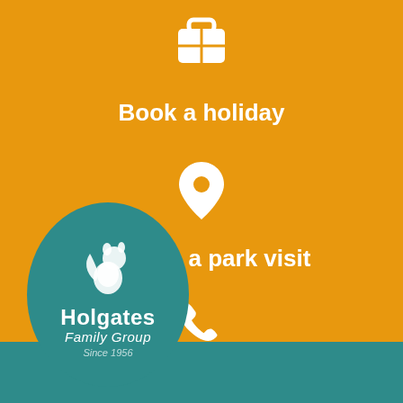[Figure (infographic): Suitcase icon (white) on orange background]
Book a holiday
[Figure (infographic): Location pin icon (white) on orange background]
Arrange a park visit
[Figure (infographic): Phone handset icon (white) on orange background]
Get in touch
[Figure (logo): Holgates Family Group logo — teal circle with white squirrel, text: Holgates Family Group Since 1956]